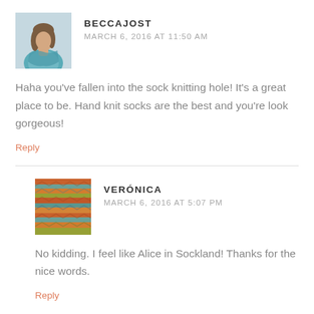[Figure (photo): Avatar photo of Beccajost, a woman with long hair wearing a teal/blue scarf, light background]
BECCAJOST
MARCH 6, 2016 AT 11:50 AM
Haha you've fallen into the sock knitting hole! It's a great place to be. Hand knit socks are the best and you're look gorgeous!
Reply
[Figure (photo): Avatar photo showing colorful knitted fabric in orange, teal, and green tones]
VERÓNICA
MARCH 6, 2016 AT 5:07 PM
No kidding. I feel like Alice in Sockland! Thanks for the nice words.
Reply